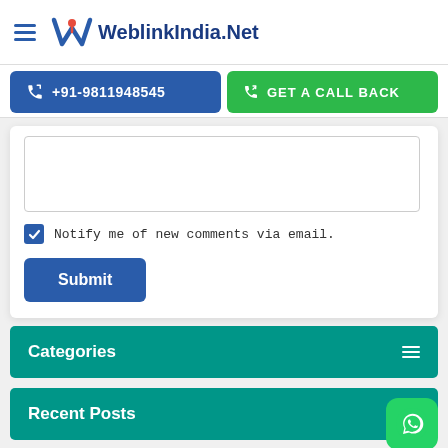WeblinkIndia.Net
+91-9811948545
GET A CALL BACK
Notify me of new comments via email.
Submit
Categories
Recent Posts